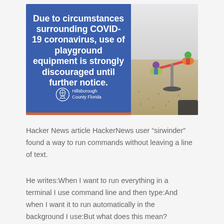[Figure (photo): Split image: left side shows a blue Hillsborough County Florida sign reading 'Due to circumstances surrounding COVID-19 coronavirus, use of playground equipment is strongly discouraged until further notice.' with an orange bottom border. Right side shows playground equipment with colorful pieces in soft focus.]
Hacker News article HackerNews user “sirwinder” found a way to run commands without leaving a line of text.
He writes:When I want to run everything in a terminal I use command line and then type:And when I want it to run automatically in the background I use:But what does this mean?